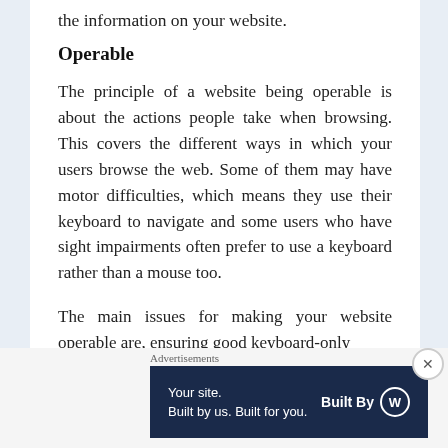the information on your website.
Operable
The principle of a website being operable is about the actions people take when browsing. This covers the different ways in which your users browse the web. Some of them may have motor difficulties, which means they use their keyboard to navigate and some users who have sight impairments often prefer to use a keyboard rather than a mouse too.
The main issues for making your website operable are, ensuring good keyboard-only
Advertisements
[Figure (infographic): Advertisement banner: 'Your site. Built by us. Built for you.' with Built By WordPress logo on dark navy background.]